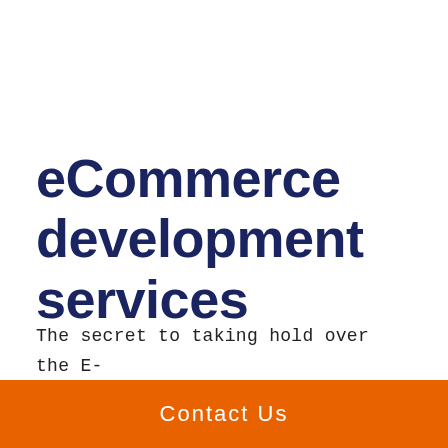eCommerce development services
The secret to taking hold over the E-commerce game lies in a perfect eCommerce software development. Increase your sale
Contact Us